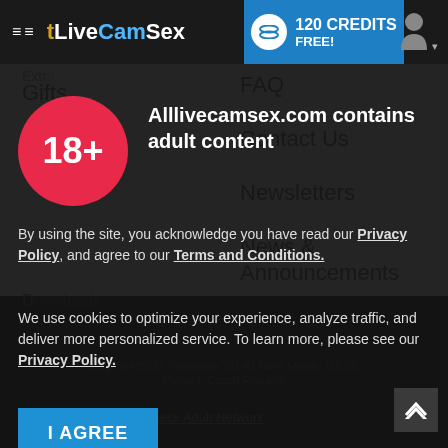tLiveCamSex — 120 CREDITS FREE!
Gifts
FAQ
Contact Us
Newsletters
News & Announcements
Alllivecamsex.com contains adult content
By using the site, you acknowledge you have read our Privacy Policy, and agree to our Terms and Conditions.
We use cookies to optimize your experience, analyze traffic, and deliver more personalized service. To learn more, please see our Privacy Policy.